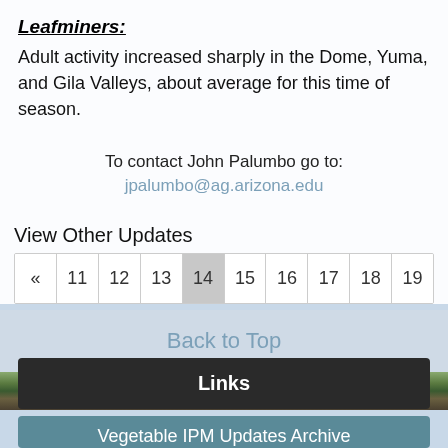Leafminers:
Adult activity increased sharply in the Dome, Yuma, and Gila Valleys, about average for this time of season.
To contact John Palumbo go to: jpalumbo@ag.arizona.edu
View Other Updates
| « | 11 | 12 | 13 | 14 | 15 | 16 | 17 | 18 | 19 |
| --- | --- | --- | --- | --- | --- | --- | --- | --- | --- |
Back to Top
Links
Vegetable IPM Updates Archive